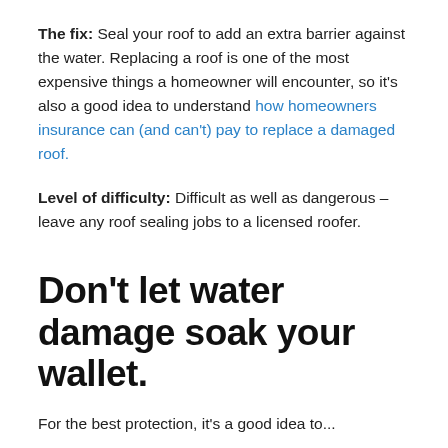The fix: Seal your roof to add an extra barrier against the water. Replacing a roof is one of the most expensive things a homeowner will encounter, so it's also a good idea to understand how homeowners insurance can (and can't) pay to replace a damaged roof.
Level of difficulty: Difficult as well as dangerous – leave any roof sealing jobs to a licensed roofer.
Don't let water damage soak your wallet.
For the best protection, it's a good idea to...